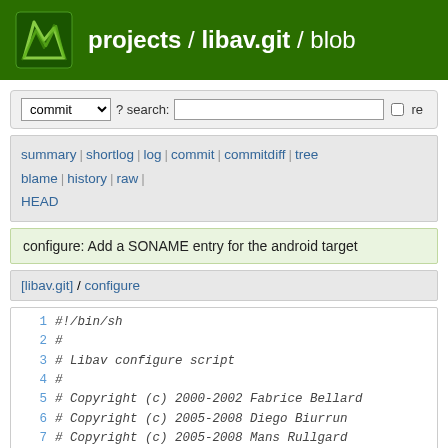projects / libav.git / blob
commit ? search: re
summary | shortlog | log | commit | commitdiff | tree blame | history | raw | HEAD
configure: Add a SONAME entry for the android target
[libav.git] / configure
1 #!/bin/sh
2 #
3 # Libav configure script
4 #
5 # Copyright (c) 2000-2002 Fabrice Bellard
6 # Copyright (c) 2005-2008 Diego Biurrun
7 # Copyright (c) 2005-2008 Mans Rullgard
8 #
9
10 # ...